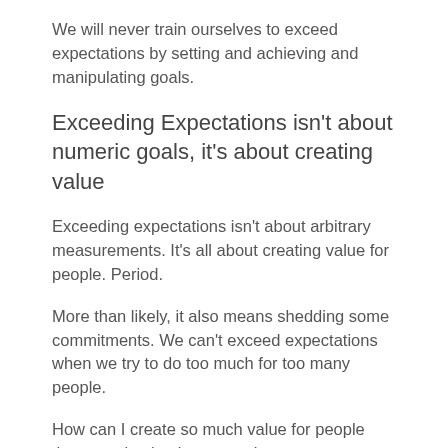We will never train ourselves to exceed expectations by setting and achieving and manipulating goals.
Exceeding Expectations isn't about numeric goals, it's about creating value
Exceeding expectations isn't about arbitrary measurements. It's all about creating value for people. Period.
More than likely, it also means shedding some commitments. We can't exceed expectations when we try to do too much for too many people.
How can I create so much value for people that even buying insurance becomes a pleasure? (Now